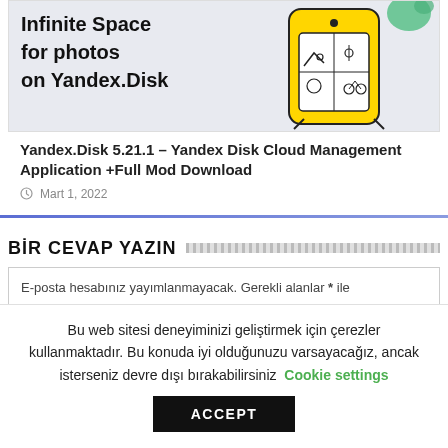[Figure (screenshot): Yandex Disk ad banner showing 'Infinite Space for photos on Yandex.Disk' with a cartoon yellow phone character holding photos]
Yandex.Disk 5.21.1 – Yandex Disk Cloud Management Application +Full Mod Download
Mart 1, 2022
BİR CEVAP YAZIN
E-posta hesabınız yayımlanmayacak. Gerekli alanlar * ile
Bu web sitesi deneyiminizi geliştirmek için çerezler kullanmaktadır. Bu konuda iyi olduğunuzu varsayacağız, ancak isterseniz devre dışı bırakabilirsiniz Cookie settings